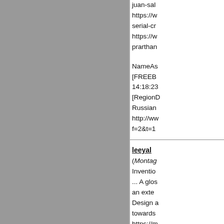juan-sal
https://w
serial-cr
https://w
prarthan
NameAs
[FREEB
14:18:23
[RegionD
Russian
http://ww
f=2&t=1
leeyal
(Montag
Inventio
... A glos
an exte
Design a
towards
https://m
itemNam